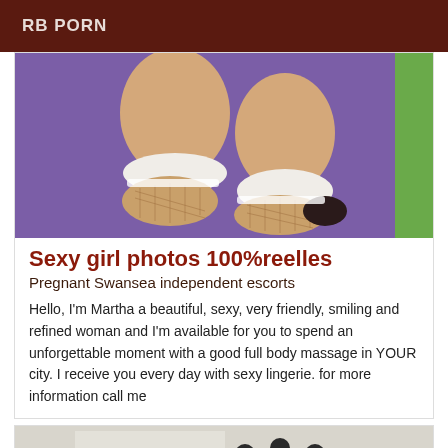RB PORN
[Figure (photo): Close-up photo of legs/feet wearing fishnet-style ankle socks/shoes on a purple background with a green object on the right side]
Sexy girl photos 100%reelles
Pregnant Swansea independent escorts
Hello, I'm Martha a beautiful, sexy, very friendly, smiling and refined woman and I'm available for you to spend an unforgettable moment with a good full body massage in YOUR city. I receive you every day with sexy lingerie. for more information call me
[Figure (photo): Partial photo showing massage or body-related imagery with an 'Online' badge in the bottom right corner]